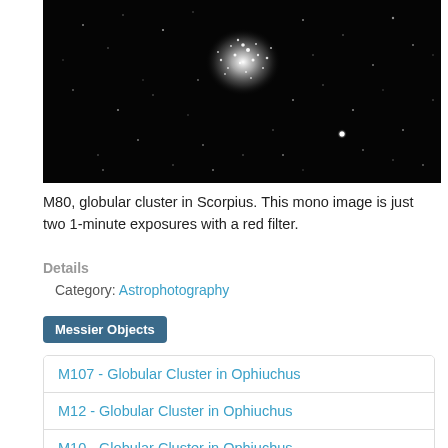[Figure (photo): Black and white astrophotography image of M80, a globular cluster in Scorpius. The cluster appears as a dense concentration of stars in the upper portion of the frame, with scattered stars throughout the dark background. A bright star is visible in the lower right area.]
M80, globular cluster in Scorpius. This mono image is just two 1-minute exposures with a red filter.
Details
Category: Astrophotography
Messier Objects
M107 - Globular Cluster in Ophiuchus
M12 - Globular Cluster in Ophiuchus
M10 - Globular Cluster in Ophiuchus